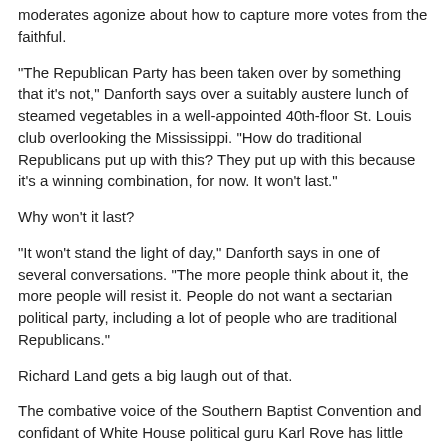moderates agonize about how to capture more votes from the faithful.
"The Republican Party has been taken over by something that it's not," Danforth says over a suitably austere lunch of steamed vegetables in a well-appointed 40th-floor St. Louis club overlooking the Mississippi. "How do traditional Republicans put up with this? They put up with this because it's a winning combination, for now. It won't last."
Why won't it last?
"It won't stand the light of day," Danforth says in one of several conversations. "The more people think about it, the more people will resist it. People do not want a sectarian political party, including a lot of people who are traditional Republicans."
Richard Land gets a big laugh out of that.
The combative voice of the Southern Baptist Convention and confidant of White House political guru Karl Rove has little